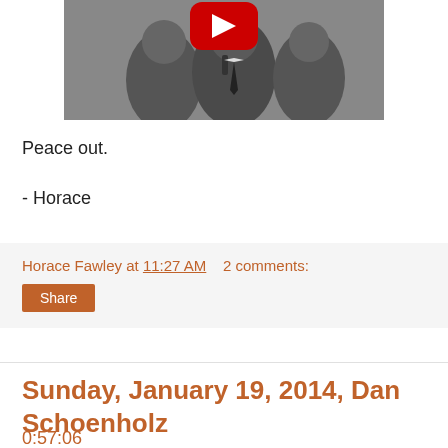[Figure (screenshot): Grayscale video thumbnail showing a man at a microphone, with a YouTube play button overlay in the upper center.]
Peace out.
- Horace
Horace Fawley at 11:27 AM    2 comments:
Share
Sunday, January 19, 2014, Dan Schoenholz
0:57:06